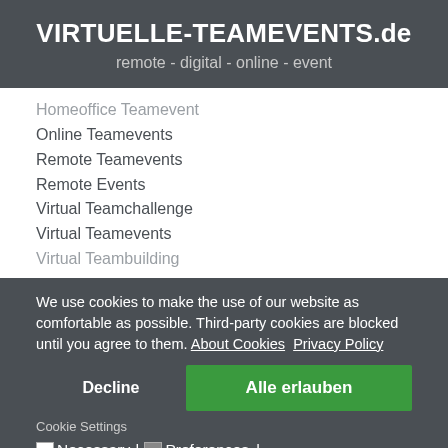VIRTUELLE-TEAMEVENTS.de
remote - digital - online - event
Homeoffice Teamevent
Online Teamevents
Remote Teamevents
Remote Events
Virtual Teamchallenge
Virtual Teamevents
Virtual Teambuilding
We use cookies to make the use of our website as comfortable as possible. Third-party cookies are blocked until you agree to them. About Cookies  Privacy Policy
Decline
Alle erlauben
Cookie Settings
Necessary | Preferences | Analysis & Statistics | Accept all cookies